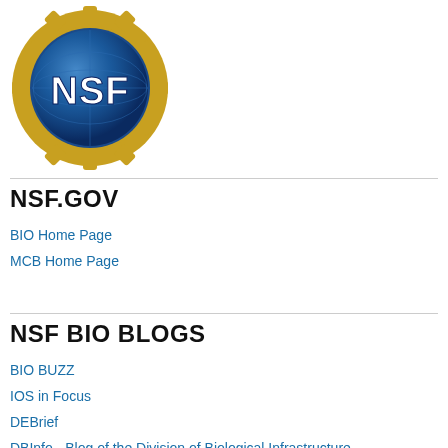[Figure (logo): NSF (National Science Foundation) circular logo with blue globe and gold gear-like border with 'NSF' text]
NSF.GOV
BIO Home Page
MCB Home Page
NSF BIO BLOGS
BIO BUZZ
IOS in Focus
DEBrief
DBInfo - Blog of the Division of Biological Infrastructure